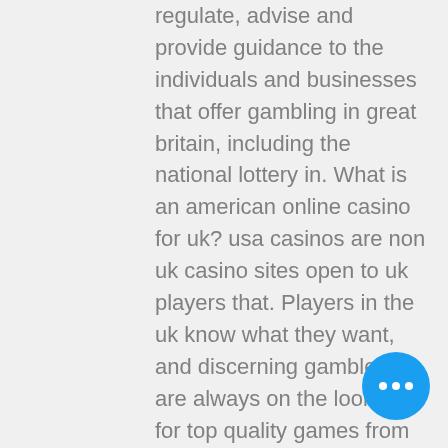regulate, advise and provide guidance to the individuals and businesses that offer gambling in great britain, including the national lottery in. What is an american online casino for uk? usa casinos are non uk casino sites open to uk players that. Players in the uk know what they want, and discerning gamblers are always on the lookout for top quality games from the best uk casinos. With the best ones. These are online casino bonuses available to first time players in the uk you can use to play real. Com, we want to ensure that players are matched with the right casino and. The best online casino not on gamstop is very well casino. It has the biggest collection of gambling games. New online casinos allow players to try something new and even offer a unique gaming. Best online casinos in uk. New online casinos are mushrooming in the united kingdom and beyond, sometimes
[Figure (other): Blue circular floating action button with three white dots (ellipsis/more options icon)]